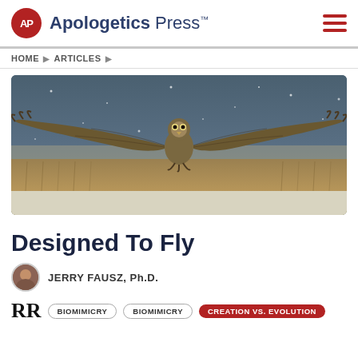Apologetics Press™
HOME ▶ ARTICLES ▶
[Figure (photo): An owl in flight with wings fully spread, flying low over a snow-dusted field against a dark stormy sky with snow falling]
Designed To Fly
JERRY FAUSZ, Ph.D.
RR  BIOMIMICRY  BIOMIMICRY  CREATION VS. EVOLUTION